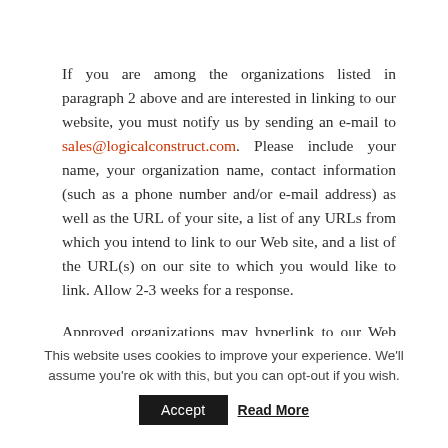If you are among the organizations listed in paragraph 2 above and are interested in linking to our website, you must notify us by sending an e-mail to sales@logicalconstruct.com. Please include your name, your organization name, contact information (such as a phone number and/or e-mail address) as well as the URL of your site, a list of any URLs from which you intend to link to our Web site, and a list of the URL(s) on our site to which you would like to link. Allow 2-3 weeks for a response.
Approved organizations may hyperlink to our Web site as follows:
This website uses cookies to improve your experience. We'll assume you're ok with this, but you can opt-out if you wish.